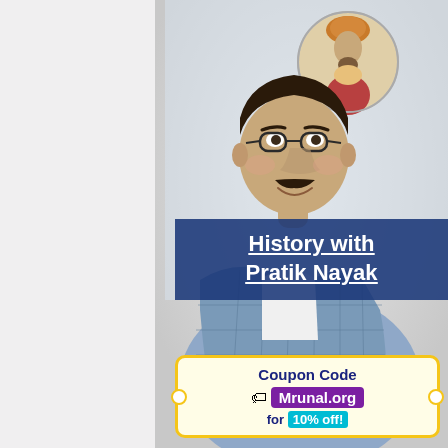[Figure (photo): Promotional banner image: A man wearing glasses and a blue checked blazer over white shirt, smiling at camera. Behind/above him is a circular inset illustration of a historical Mughal-era figure in traditional attire. Background is light/white. This is a promotional image for an educational course on History.]
History with Pratik Nayak
Coupon Code Mrunal.org for 10% off!